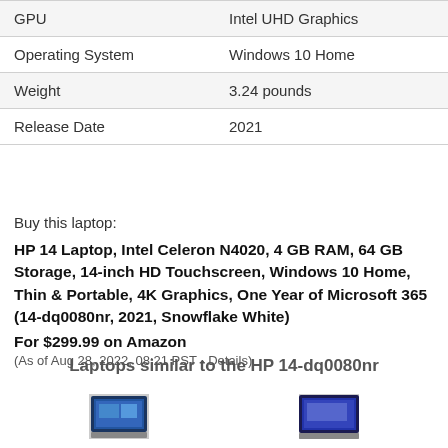| GPU | Intel UHD Graphics |
| Operating System | Windows 10 Home |
| Weight | 3.24 pounds |
| Release Date | 2021 |
Buy this laptop:
HP 14 Laptop, Intel Celeron N4020, 4 GB RAM, 64 GB Storage, 14-inch HD Touchscreen, Windows 10 Home, Thin & Portable, 4K Graphics, One Year of Microsoft 365 (14-dq0080nr, 2021, Snowflake White) For $299.99 on Amazon
(As of Aug 28, 2022, 08:21 PST - Details)
Laptops similar to the HP 14-dq0080nr
[Figure (photo): Two laptop product images shown side by side at the bottom of the page]